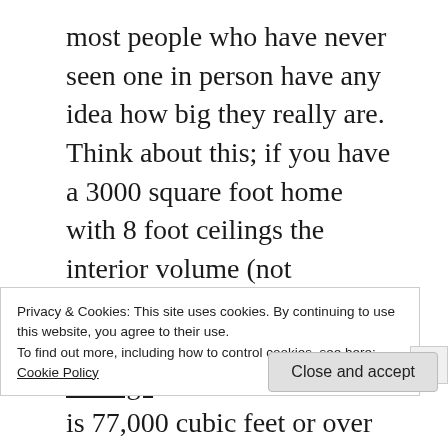most people who have never seen one in person have any idea how big they really are. Think about this; if you have a 3000 square foot home with 8 foot ceilings the interior volume (not counting attic or crawlspace) is 24,000 cubic feet. An average size hot air balloon is 77,000 cubic feet or over three times the volume of the home! That balloon including the basket would weigh over 600 pounds! The air inside the balloon, or envelope, must be heated to a temperature of about 100 degrees
Privacy & Cookies: This site uses cookies. By continuing to use this website, you agree to their use.
To find out more, including how to control cookies, see here:
Cookie Policy
Close and accept